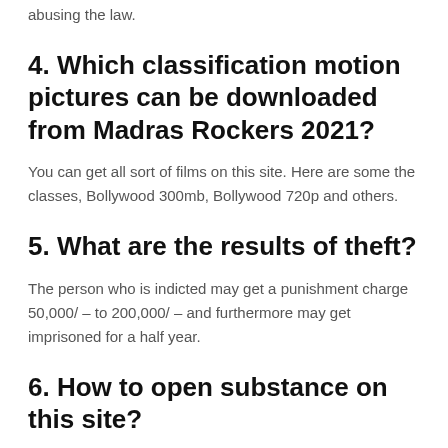abusing the law.
4. Which classification motion pictures can be downloaded from Madras Rockers 2021?
You can get all sort of films on this site. Here are some the classes, Bollywood 300mb, Bollywood 720p and others.
5. What are the results of theft?
The person who is indicted may get a punishment charge 50,000/ – to 200,000/ – and furthermore may get imprisoned for a half year.
6. How to open substance on this site?